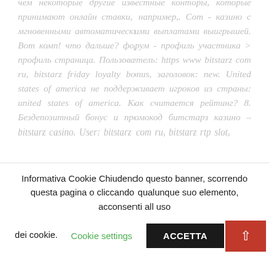чем некоторые другие известные конторы, которые принимают онлайн ставки, например,. Сom - казино с мгновенными автоматическими выплатами выигрышей. Вот комп! что дальше? форум - профиль участника > профиль страница. Пользователь: https www bitstarz com ru, bitstarz friday loyalty bonus, заголовок: new. United states of america не поддерживает игроков из страны: united states of america. Как считается рейтинг? 8. Бездепозитный бонус и промокод битстарз казино – bitstarz casino. User: bitstarz com ru, bitstarz rtp slot, title: new member
Informativa Cookie Chiudendo questo banner, scorrendo questa pagina o cliccando qualunque suo elemento, acconsenti all uso dei cookie.
Cookie settings
ACCETTA